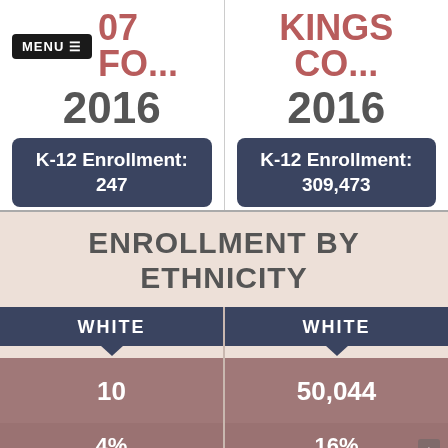MENU ≡ 07 FO...
KINGS CO...
2016
2016
K-12 Enrollment: 247
K-12 Enrollment: 309,473
ENROLLMENT BY ETHNICITY
WHITE
WHITE
10
50,044
4%
16%